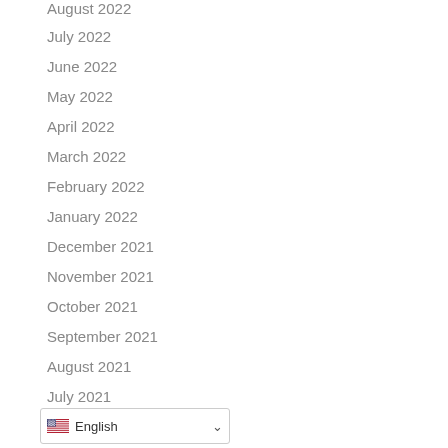August 2022
July 2022
June 2022
May 2022
April 2022
March 2022
February 2022
January 2022
December 2021
November 2021
October 2021
September 2021
August 2021
July 2021
English